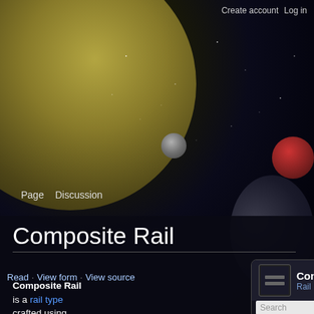Create account   Log in
Page   Discussion
Composite Rail
Read · View form · View source
Composite Rail is a rail type crafted using durasteel bars. It can be found in Apex Miniknog Bases.

Players will pass through it, and can have rail
[Figure (screenshot): Infobox for Composite Rail showing item icon, title 'Composite Rail', subtitle 'Rail', a search bar, and an in-game image of the rail items with caption 'A strong reinforced rail.']